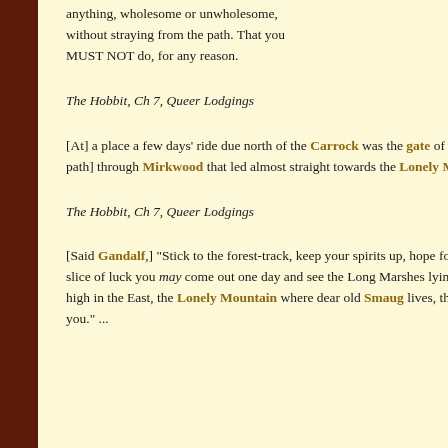anything, wholesome or unwholesome, without straying from the path. That you MUST NOT do, for any reason.
The Hobbit, Ch 7, Queer Lodgings
[At] a place a few days' ride due north of the Carrock was the gate of a little-known pathway [The Elf-path] through Mirkwood that led almost straight towards the Lonely Mountain.
The Hobbit, Ch 7, Queer Lodgings
[Said Gandalf,] "Stick to the forest-track, keep your spirits up, hope for the best, and with a tremendous slice of luck you may come out one day and see the Long Marshes lying below you, and beyond them, high in the East, the Lonely Mountain where dear old Smaug lives, though I hope he is not expecting you." ...